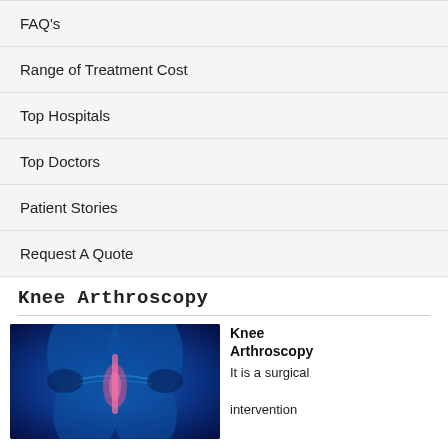FAQ's
Range of Treatment Cost
Top Hospitals
Top Doctors
Patient Stories
Request A Quote
Knee Arthroscopy
[Figure (photo): Medical illustration of knee anatomy shown in blue tones with highlighted joint area in pink/red]
Knee Arthroscopy
It is a surgical intervention